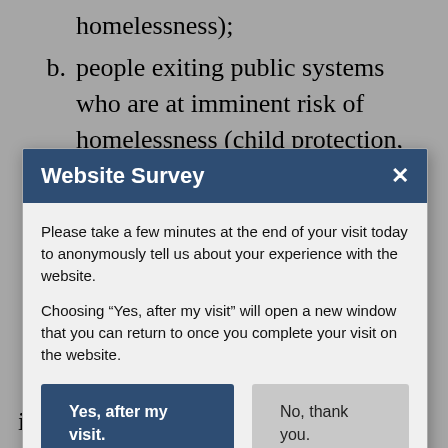homelessness);
b. people exiting public systems who are at imminent risk of homelessness (child protection,
[Figure (screenshot): Website Survey modal dialog with dark blue header, close button (×), body text asking user to take a survey after their visit, and two buttons: 'Yes, after my visit.' (dark blue) and 'No, thank you.' (grey).]
in a stable housing situation